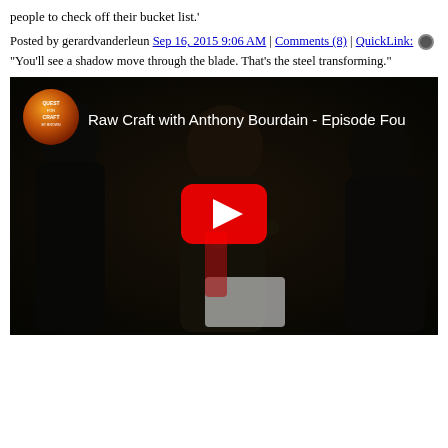people to check off their bucket list.'
Posted by gerardvanderleun Sep 16, 2015 9:06 AM | Comments (8) | QuickLink: ⚙
"You'll see a shadow move through the blade. That's the steel transforming."
[Figure (screenshot): YouTube video thumbnail for 'Raw Craft with Anthony Bourdain - Episode Four' showing two men in a dark workshop. A YouTube play button is visible in the center. The Quest for Craft logo badge appears in the top left.]